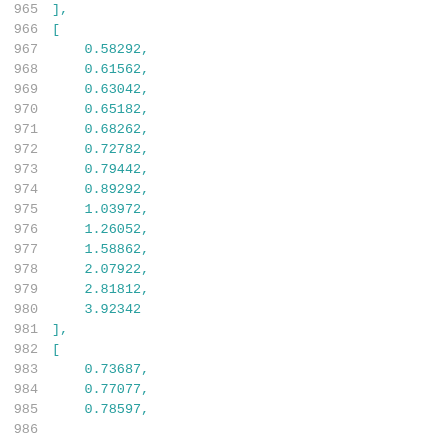965    ],
966    [
967        0.58292,
968        0.61562,
969        0.63042,
970        0.65182,
971        0.68262,
972        0.72782,
973        0.79442,
974        0.89292,
975        1.03972,
976        1.26052,
977        1.58862,
978        2.07922,
979        2.81812,
980        3.92342
981    ],
982    [
983        0.73687,
984        0.77077,
985        0.78597,
986        ...